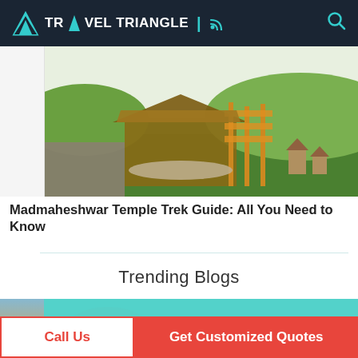TRAVEL TRIANGLE
[Figure (photo): Outdoor scene showing a wooden structure/shed under construction with colorful decorations, surrounded by green meadows and hills. Appears to be a temple area with small shrines visible.]
Madmaheshwar Temple Trek Guide: All You Need to Know
Trending Blogs
[Figure (photo): A couple at a scenic beach or lake with turquoise water. A man is giving a woman a piggyback ride, both smiling. Tropical destination setting.]